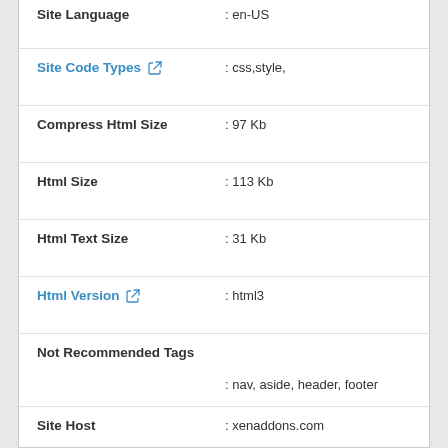| Label | Value |
| --- | --- |
| Site Language | : en-US |
| Site Code Types ↗ | : css,style, |
| Compress Html Size | : 97 Kb |
| Html Size | : 113 Kb |
| Html Text Size | : 31 Kb |
| Html Version ↗ | : html3 |
| Not Recommended Tags | : nav, aside, header, footer |
| Site Host | : xenaddons.com |
| Site Server | : nginx centminmod |
| Ip Address | : 45.79.7.94 |